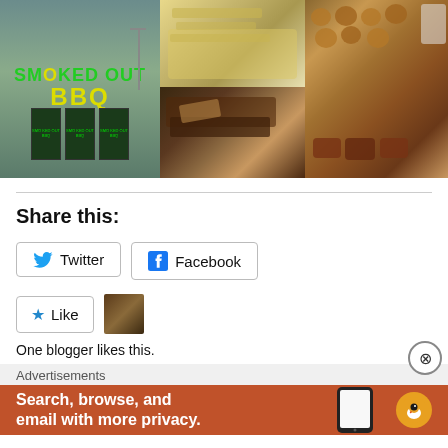[Figure (photo): Collage of 4 photos: restaurant exterior with 'Smoked Out BBQ' green/yellow sign, mac and cheese dish, BBQ meat closeup, and fried items with sausage on a plate]
Share this:
Twitter
Facebook
Like
One blogger likes this.
Advertisements
Search, browse, and email with more privacy.